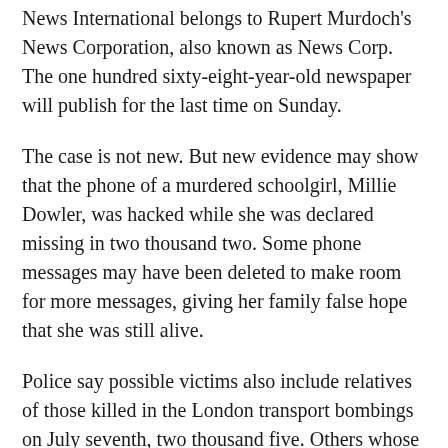News International belongs to Rupert Murdoch's News Corporation, also known as News Corp. The one hundred sixty-eight-year-old newspaper will publish for the last time on Sunday.
The case is not new. But new evidence may show that the phone of a murdered schoolgirl, Millie Dowler, was hacked while she was declared missing in two thousand two. Some phone messages may have been deleted to make room for more messages, giving her family false hope that she was still alive.
Police say possible victims also include relatives of those killed in the London transport bombings on July seventh, two thousand five. Others whose phones may have been hacked include parents of soldiers killed in Iraq and Afghanistan.